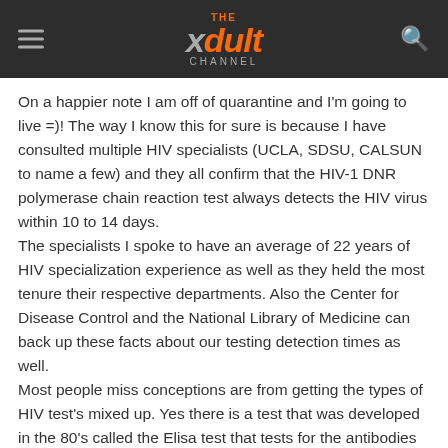THE xdult CHANNEL
On a happier note I am off of quarantine and I'm going to live =)! The way I know this for sure is because I have consulted multiple HIV specialists (UCLA, SDSU, CALSUN to name a few) and they all confirm that the HIV-1 DNR polymerase chain reaction test always detects the HIV virus within 10 to 14 days.
The specialists I spoke to have an average of 22 years of HIV specialization experience as well as they held the most tenure their respective departments. Also the Center for Disease Control and the National Library of Medicine can back up these facts about our testing detection times as well.
Most people miss conceptions are from getting the types of HIV test's mixed up. Yes there is a test that was developed in the 80's called the Elisa test that tests for the antibodies produced by HIV and it would take 3 to 6 months to show up.
Now we have an extremely advanced test called the HIV-1